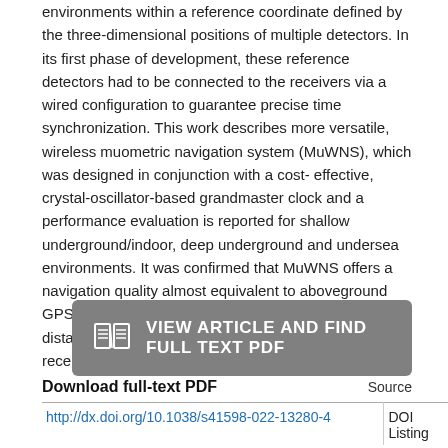environments within a reference coordinate defined by the three-dimensional positions of multiple detectors. In its first phase of development, these reference detectors had to be connected to the receivers via a wired configuration to guarantee precise time synchronization. This work describes more versatile, wireless muometric navigation system (MuWNS), which was designed in conjunction with a cost-effective, crystal-oscillator-based grandmaster clock and a performance evaluation is reported for shallow underground/indoor, deep underground and undersea environments. It was confirmed that MuWNS offers a navigation quality almost equivalent to aboveground GPS-based handheld navigation by determining the distance between the reference frame and the receivers within a precision range between 1 and 10 m.
[Figure (other): Button: VIEW ARTICLE AND FIND FULL TEXT PDF with an open-book icon on dark grey/slate background]
Download full-text PDF
|  | Source |
| --- | --- |
| http://dx.doi.org/10.1038/s41598-022-13280-4 | DOI Listing |